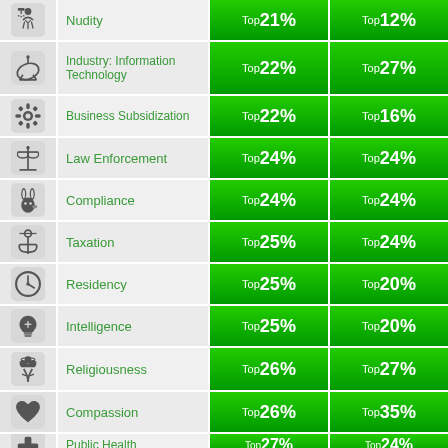| Category | Value 1 | Value 2 |
| --- | --- | --- |
| Nudity | Top 21% | Top 12% |
| Industry: Information Technology | Top 22% | Top 27% |
| Business Subsidization | Top 22% | Top 16% |
| Law Enforcement | Top 24% | Top 24% |
| Compliance | Top 24% | Top 24% |
| Taxation | Top 25% | Top 24% |
| Residency | Top 25% | Top 20% |
| Intelligence | Top 25% | Top 20% |
| Religiousness | Top 26% | Top 27% |
| Compassion | Top 26% | Top 35% |
| Public Health | Top 27% | Top 24% |